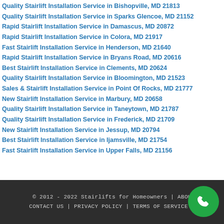Quality Stairlift Installation Service in Bishopville, MD 21813
Quality Stairlift Installation Service in Sparks Glencoe, MD 21152
Rapid Stairlift Installation Service in Damascus, MD 20872
Rapid Stairlift Installation Service in Colora, MD 21917
Fast Stairlift Installation Service in Henderson, MD 21640
Rapid Stairlift Installation Service in Bryans Road, MD 20616
Best Stairlift Installation Service in Clements, MD 20624
Quality Stairlift Installation Service in Bloomington, MD 21523
Sales & Stairlift Installation Service in Point Of Rocks, MD 21777
New Stairlift Installation Service in Marbury, MD 20658
Quality Stairlift Installation Service in Taneytown, MD 21787
Quality Stairlift Installation Service in Frederick, MD 21709
New Stairlift Installation Service in Jessup, MD 20794
Best Stairlift Installation Service in Ijamsville, MD 21754
Fast Stairlift Installation Service in Upper Falls, MD 21156
© 2012 - 2022 Stairlifts for Homeowners | ABOUT | CONTACT US | PRIVACY POLICY | TERMS OF SERVICE |